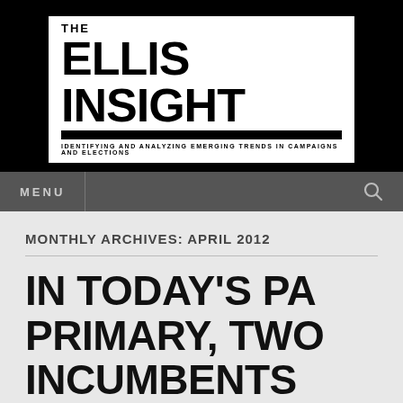THE ELLIS INSIGHT — IDENTIFYING AND ANALYZING EMERGING TRENDS IN CAMPAIGNS AND ELECTIONS
MONTHLY ARCHIVES: APRIL 2012
IN TODAY'S PA PRIMARY, TWO INCUMBENTS COULD LOSE